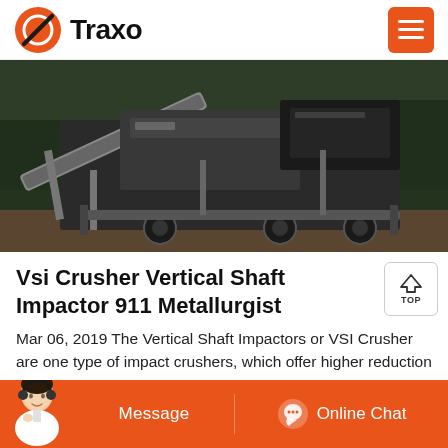Traxo
[Figure (photo): Industrial VSI crusher / vertical shaft impactor machine on a site with trees in background, mounted on wheels/trailer, showing conveyor belts and crushing machinery.]
Vsi Crusher Vertical Shaft Impactor 911 Metallurgist
Mar 06, 2019 The Vertical Shaft Impactors or VSI Crusher are one type of impact crushers, which offer higher reduction ratios at a lower energy consumption. These impactors. can be considered as a stone pump operating like a centrifugal pump. The material is fed through the centre of the rotor,